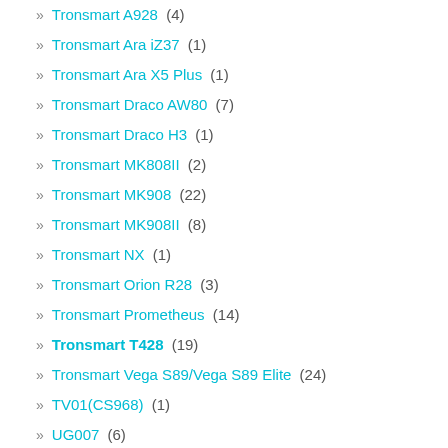» Tronsmart A928 (4)
» Tronsmart Ara iZ37 (1)
» Tronsmart Ara X5 Plus (1)
» Tronsmart Draco AW80 (7)
» Tronsmart Draco H3 (1)
» Tronsmart MK808II (2)
» Tronsmart MK908 (22)
» Tronsmart MK908II (8)
» Tronsmart NX (1)
» Tronsmart Orion R28 (3)
» Tronsmart Prometheus (14)
» Tronsmart T428 (19)
» Tronsmart Vega S89/Vega S89 Elite (24)
» TV01(CS968) (1)
» UG007 (6)
» UG007 II (3)
» UG007B (2)
» UG008 (2)